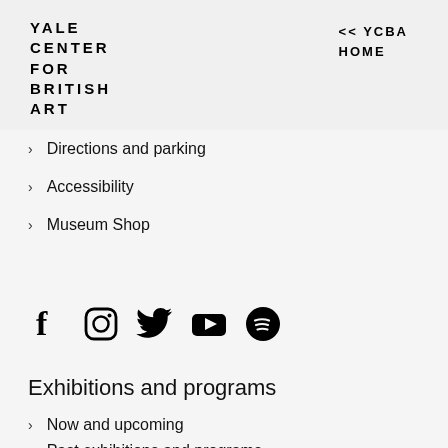YALE CENTER FOR BRITISH ART
<< YCBA HOME
Directions and parking
Accessibility
Museum Shop
[Figure (infographic): Social media icons: Facebook, Instagram, Twitter, YouTube, Spotify]
Exhibitions and programs
Now and upcoming
Past exhibitions and programs